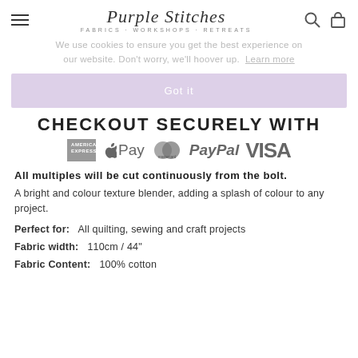Purple Stitches — FABRICS · WORKSHOPS · RETREATS
We use cookies to ensure you get the best experience on our website. Don't worry, we'll hoover up. Learn more
Got it
CHECKOUT SECURELY WITH
[Figure (logo): Payment method logos: American Express, Apple Pay, Mastercard, PayPal, VISA]
All multiples will be cut continuously from the bolt.
A bright and colour texture blender, adding a splash of colour to any project.
Perfect for:   All quilting, sewing and craft projects
Fabric width:   110cm / 44"
Fabric Content:   100% cotton